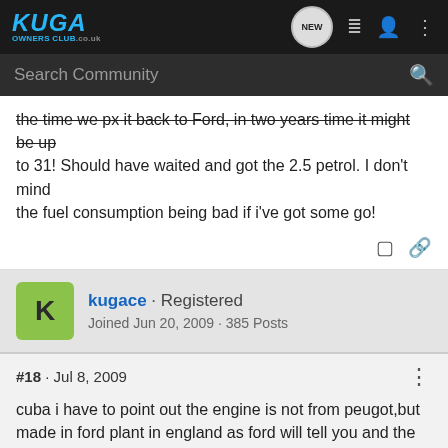Kuga Owners Club .co.uk
the time we px it back to Ford, in two years time it might be up to 31! Should have waited and got the 2.5 petrol. I don't mind the fuel consumption being bad if i've got some go!
kugace · Registered
Joined Jun 20, 2009 · 385 Posts
#18 · Jul 8, 2009
cuba i have to point out the engine is not from peugot,but made in ford plant in england as ford will tell you and the ford workers who have made several refs to this,ford also bulid the engines for volvo,freelander,jaguar,peugot there was a note about this